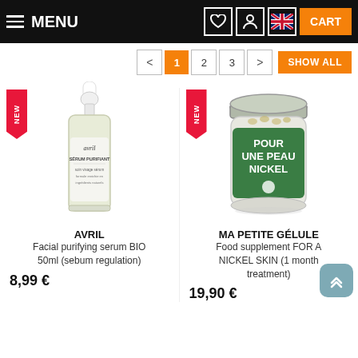MENU | CART
< 1 2 3 > SHOW ALL
[Figure (photo): Avril facial purifying serum BIO 50ml bottle with dropper, with a red NEW banner badge]
AVRIL
Facial purifying serum BIO 50ml (sebum regulation)
8,99 €
[Figure (photo): Ma Petite Gélule supplement jar with green label reading POUR UNE PEAU NICKEL, with a red NEW banner badge]
MA PETITE GÉLULE
Food supplement FOR A NICKEL SKIN (1 month treatment)
19,90 €